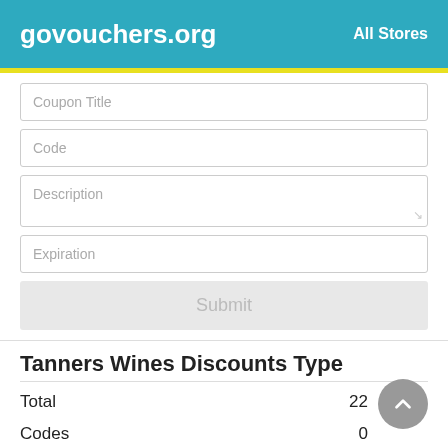govouchers.org   All Stores
[Figure (screenshot): Web form with input fields: Coupon Title, Code, Description, Expiration, and a Submit button]
Tanners Wines Discounts Type
|  |  |
| --- | --- |
| Total | 22 |
| Codes | 0 |
| Deals | 22 |
| Max Discount | 20% |